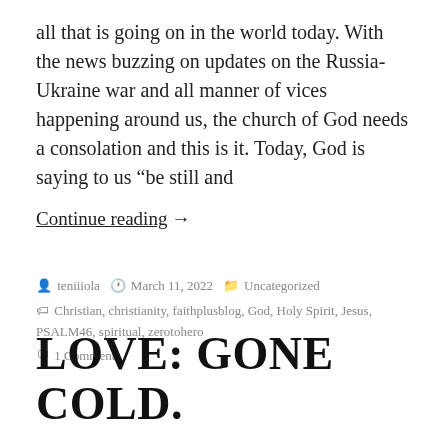all that is going on in the world today. With the news buzzing on updates on the Russia-Ukraine war and all manner of vices happening around us, the church of God needs a consolation and this is it. Today, God is saying to us “be still and
Continue reading →
by teniiiola  March 11, 2022  Uncategorized
Christian, christianity, faithplusblog, God, Holy Spirit, Jesus, PSALM46, spiritual, zerotohero
1 Comment
LOVE: GONE COLD.